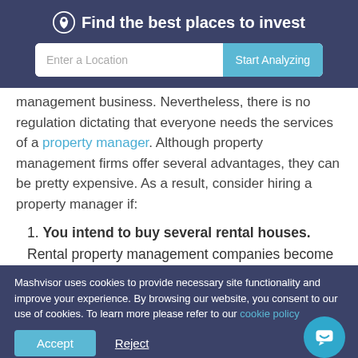Find the best places to invest
management business. Nevertheless, there is no regulation dictating that everyone needs the services of a property manager. Although property management firms offer several advantages, they can be pretty expensive. As a result, consider hiring a property manager if:
1. You intend to buy several rental houses. Rental property management companies become
Mashvisor uses cookies to provide necessary site functionality and improve your experience. By browsing our website, you consent to our use of cookies. To learn more please refer to our cookie policy